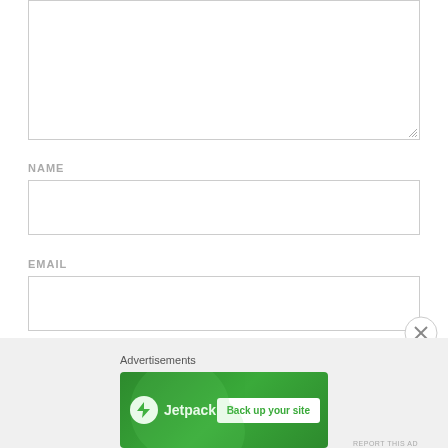[Figure (screenshot): Empty textarea input box with resize handle at bottom right]
NAME
[Figure (screenshot): Empty text input field for Name]
EMAIL
[Figure (screenshot): Empty text input field for Email]
[Figure (screenshot): Close (X) button circle overlay]
Advertisements
[Figure (screenshot): Jetpack advertisement banner with lightning bolt logo and 'Back up your site' button on green background]